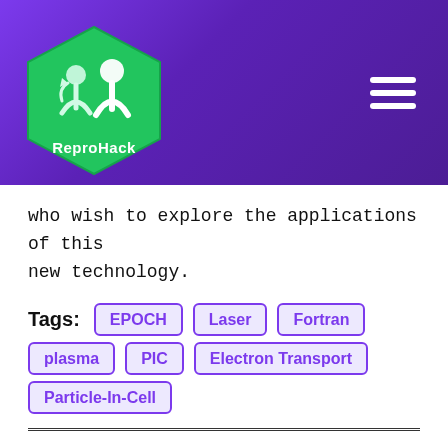[Figure (logo): ReproHack logo — hexagonal green badge with two figures and text 'ReproHack' on a purple gradient header banner]
who wish to explore the applications of this new technology.
Tags: EPOCH | Laser | Fortran | plasma | PIC | Electron Transport | Particle-In-Cell
Thermodynamics of stacking disorder in ice nuclei